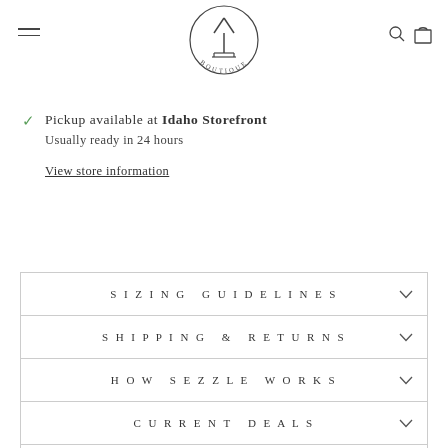[Figure (logo): CY Boutique circular logo with text BOUTIQUE at the bottom]
Pickup available at Idaho Storefront
Usually ready in 24 hours
View store information
SIZING GUIDELINES
SHIPPING & RETURNS
HOW SEZZLE WORKS
CURRENT DEALS